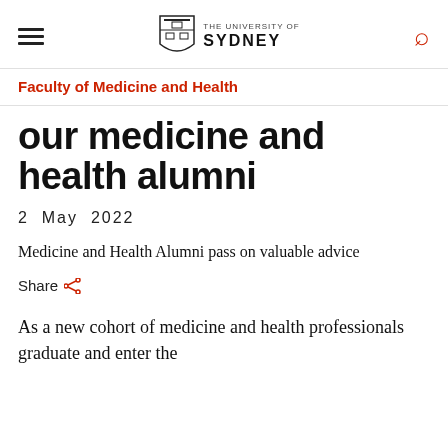THE UNIVERSITY OF SYDNEY — Faculty of Medicine and Health
our medicine and health alumni
2  May  2022
Medicine and Health Alumni pass on valuable advice
Share
As a new cohort of medicine and health professionals graduate and enter the